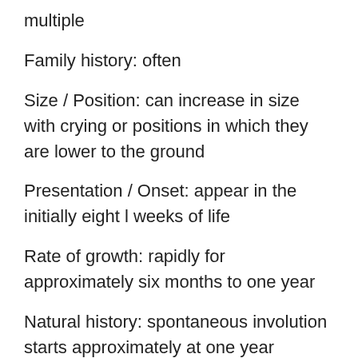multiple
Family history: often
Size / Position: can increase in size with crying or positions in which they are lower to the ground
Presentation / Onset: appear in the initially eight l weeks of life
Rate of growth: rapidly for approximately six months to one year
Natural history: spontaneous involution starts approximately at one year through age 6
Incidence: occurs in approximately 1-4% of infants, could be more common in boys (3:2), more common in low birth